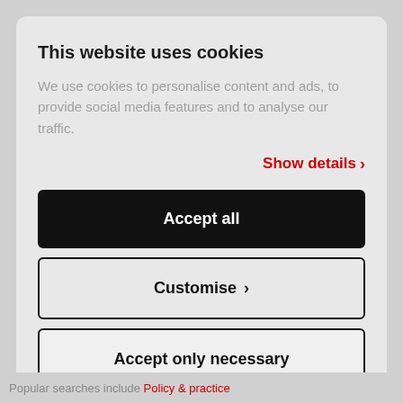This website uses cookies
We use cookies to personalise content and ads, to provide social media features and to analyse our traffic.
Show details ›
Accept all
Customise ›
Accept only necessary
Popular searches include Policy & practice